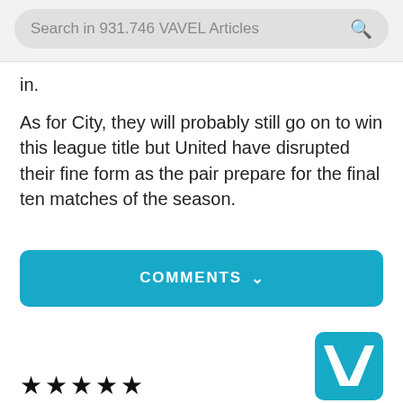Search in 931.746 VAVEL Articles
in.
As for City, they will probably still go on to win this league title but United have disrupted their fine form as the pair prepare for the final ten matches of the season.
COMMENTS
★★★★★